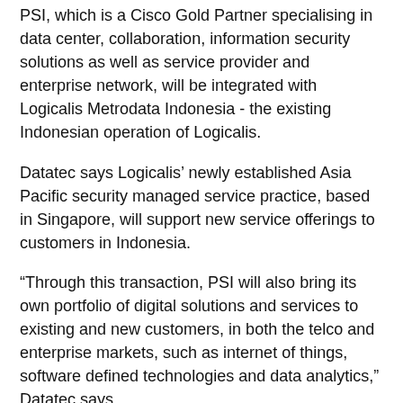PSI, which is a Cisco Gold Partner specialising in data center, collaboration, information security solutions as well as service provider and enterprise network, will be integrated with Logicalis Metrodata Indonesia - the existing Indonesian operation of Logicalis.
Datatec says Logicalis’ newly established Asia Pacific security managed service practice, based in Singapore, will support new service offerings to customers in Indonesia.
“Through this transaction, PSI will also bring its own portfolio of digital solutions and services to existing and new customers, in both the telco and enterprise markets, such as internet of things, software defined technologies and data analytics,” Datatec says.
Datatec says the Indonesian telco sector is the fourth largest in the world and the ICT market is continuing to show strong growth.